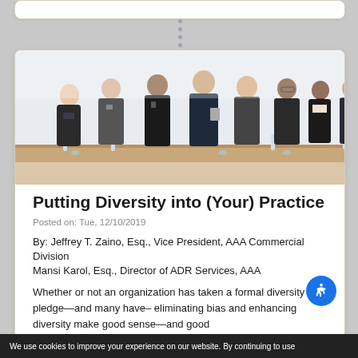[Figure (photo): Group of business professionals in formal attire standing and conversing around a conference table in a bright office setting.]
Putting Diversity into (Your) Practice
Posted on: Tue, 12/10/2019
By: Jeffrey T. Zaino, Esq., Vice President, AAA Commercial Division
Mansi Karol, Esq., Director of ADR Services, AAA
Whether or not an organization has taken a formal diversity pledge—and many have– eliminating bias and enhancing diversity make good sense—and good
We use cookies to improve your experience on our website. By continuing to use